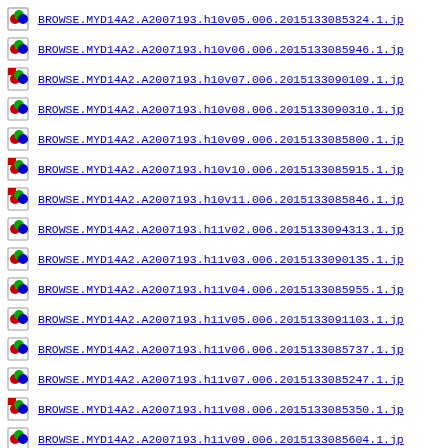BROWSE.MYD14A2.A2007193.h10v05.006.2015133085324.1.jp
BROWSE.MYD14A2.A2007193.h10v06.006.2015133085946.1.jp
BROWSE.MYD14A2.A2007193.h10v07.006.2015133090109.1.jp
BROWSE.MYD14A2.A2007193.h10v08.006.2015133090310.1.jp
BROWSE.MYD14A2.A2007193.h10v09.006.2015133085800.1.jp
BROWSE.MYD14A2.A2007193.h10v10.006.2015133085915.1.jp
BROWSE.MYD14A2.A2007193.h10v11.006.2015133085846.1.jp
BROWSE.MYD14A2.A2007193.h11v02.006.2015133094313.1.jp
BROWSE.MYD14A2.A2007193.h11v03.006.2015133090135.1.jp
BROWSE.MYD14A2.A2007193.h11v04.006.2015133085955.1.jp
BROWSE.MYD14A2.A2007193.h11v05.006.2015133091103.1.jp
BROWSE.MYD14A2.A2007193.h11v06.006.2015133085737.1.jp
BROWSE.MYD14A2.A2007193.h11v07.006.2015133085247.1.jp
BROWSE.MYD14A2.A2007193.h11v08.006.2015133085350.1.jp
BROWSE.MYD14A2.A2007193.h11v09.006.2015133085604.1.jp
BROWSE.MYD14A2.A2007193.h11v10.006.2015133084748.1.jp
BROWSE.MYD14A2.A2007193.h11v11.006.2015133085851.1.jp